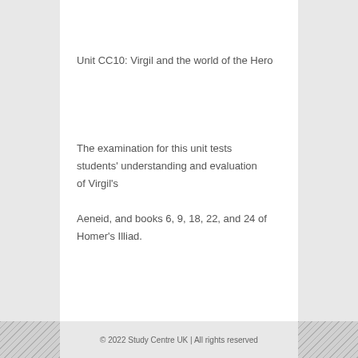Unit CC10: Virgil and the world of the Hero
The examination for this unit tests students' understanding and evaluation of Virgil's Aeneid, and books 6, 9, 18, 22, and 24 of Homer's Illiad.
© 2022 Study Centre UK | All rights reserved